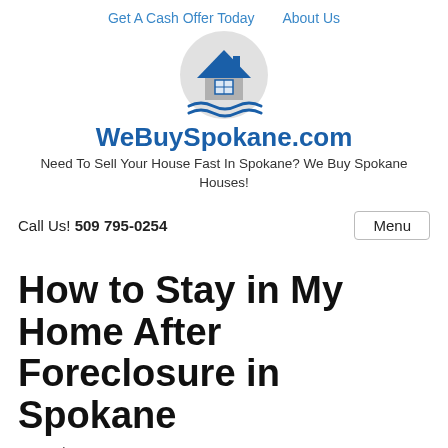Get A Cash Offer Today   About Us
[Figure (logo): WeBuySpokane.com circular logo with a blue house icon and gray circle background]
WeBuySpokane.com
Need To Sell Your House Fast In Spokane? We Buy Spokane Houses!
Call Us! 509 795-0254
Menu
How to Stay in My Home After Foreclosure in Spokane
November 20, 2020